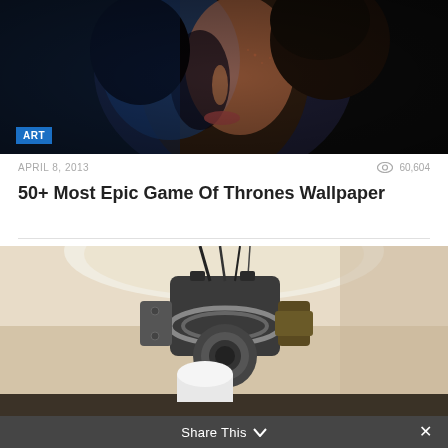[Figure (photo): Dark dramatic portrait photo of a person's face, lit with blue tones on one side, with an ART badge overlay in the bottom left]
APRIL 8, 2013
60,604
50+ Most Epic Game Of Thrones Wallpaper
[Figure (photo): Photo of a mechanical robot or camera gimbal device hanging from a ceiling, with cables and lens components visible, in a warmly lit interior space]
Share This ∨